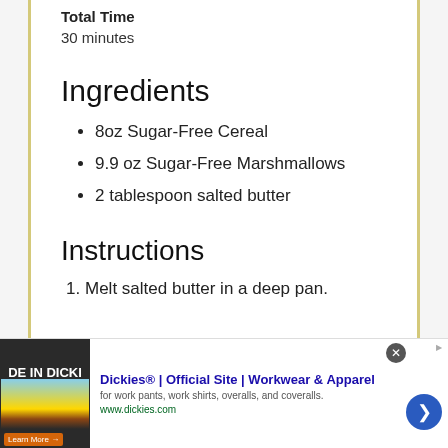Total Time
30 minutes
Ingredients
8oz Sugar-Free Cereal
9.9 oz Sugar-Free Marshmallows
2 tablespoon salted butter
Instructions
Melt salted butter in a deep pan.
[Figure (other): Dickies advertisement banner with close button and navigation arrow. Text: Dickies® | Official Site | Workwear & Apparel. for work pants, work shirts, overalls, and coveralls. www.dickies.com]